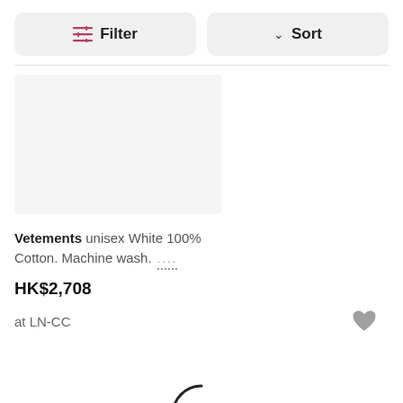[Figure (screenshot): Filter and Sort toolbar buttons]
[Figure (photo): Product image placeholder (light grey rectangle)]
Vetements unisex White 100% Cotton. Machine wash. ...
HK$2,708
at LN-CC
[Figure (other): Loading spinner (circular arc indicator)]